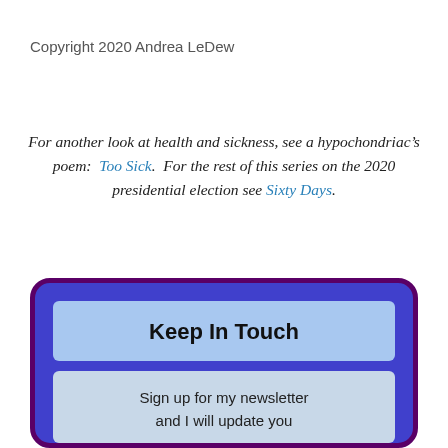Copyright 2020 Andrea LeDew
For another look at health and sickness, see a hypochondriac’s poem: Too Sick. For the rest of this series on the 2020 presidential election see Sixty Days.
Keep In Touch
Sign up for my newsletter and I will update you